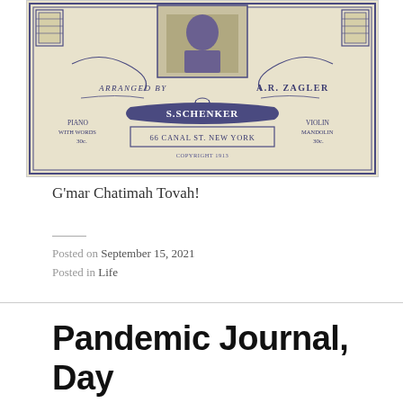[Figure (photo): Vintage sheet music cover showing ornate decorative border with illustrations of books and scrolls. Text reads: ARRANGED BY A.R. ZAGLER, PIANO WITH WORDS 30c., S. SCHENKER, 66 CANAL ST. NEW YORK, COPYRIGHT 1913, VIOLIN MANDOLIN 30c.]
G'mar Chatimah Tovah!
Posted on September 15, 2021
Posted in Life
Pandemic Journal, Day 546